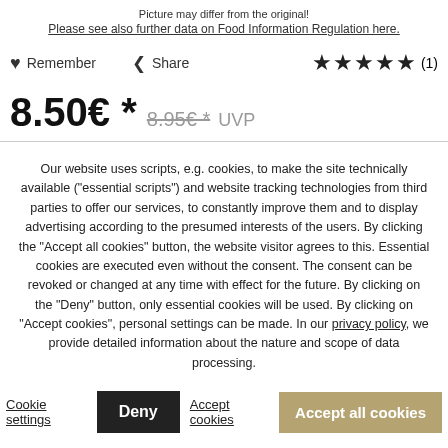Picture may differ from the original!
Please see also further data on Food Information Regulation here.
Remember   Share   ★★★★★ (1)
8.50€ *  8.95€ * UVP
Our website uses scripts, e.g. cookies, to make the site technically available ("essential scripts") and website tracking technologies from third parties to offer our services, to constantly improve them and to display advertising according to the presumed interests of the users. By clicking the "Accept all cookies" button, the website visitor agrees to this. Essential cookies are executed even without the consent. The consent can be revoked or changed at any time with effect for the future. By clicking on the "Deny" button, only essential cookies will be used. By clicking on "Accept cookies", personal settings can be made. In our privacy policy, we provide detailed information about the nature and scope of data processing.
Cookie settings   Deny   Accept cookies   Accept all cookies